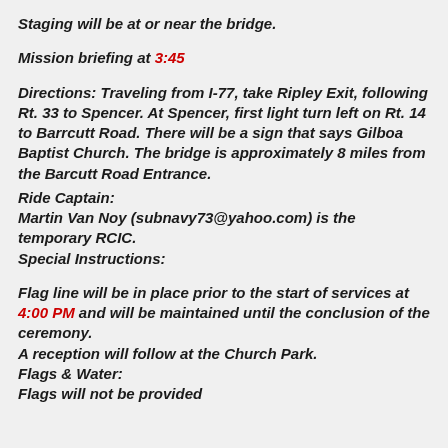Staging will be at or near the bridge.
Mission briefing at 3:45
Directions: Traveling from I-77, take Ripley Exit, following Rt. 33 to Spencer. At Spencer, first light turn left on Rt. 14 to Barrcutt Road. There will be a sign that says Gilboa Baptist Church. The bridge is approximately 8 miles from the Barcutt Road Entrance.
Ride Captain:
Martin Van Noy (subnavy73@yahoo.com) is the temporary RCIC.
Special Instructions:
Flag line will be in place prior to the start of services at 4:00 PM and will be maintained until the conclusion of the ceremony.
A reception will follow at the Church Park.
Flags & Water:
Flags will not be provided